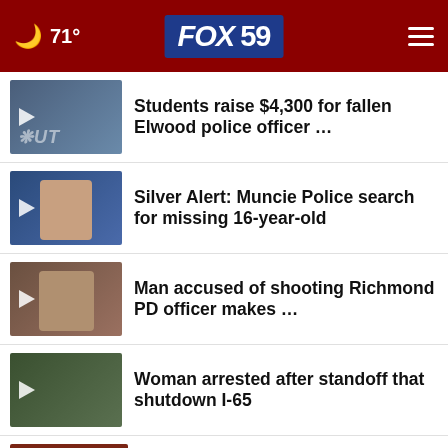🌙 71° FOX 59
Students raise $4,300 for fallen Elwood police officer …
Silver Alert: Muncie Police search for missing 16-year-old
Man accused of shooting Richmond PD officer makes …
Woman arrested after standoff that shutdown I-65
How do we measure the start of fall?
Indiana farmers hope for 'strong safety net' in next …